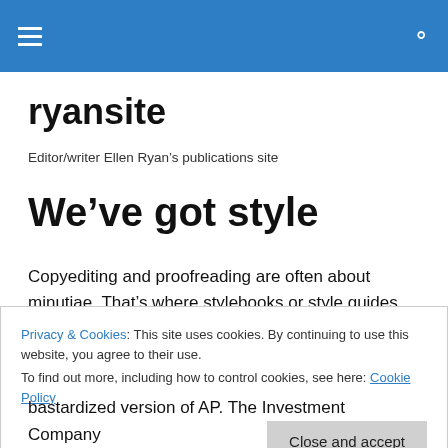ryansite navigation bar
ryansite
Editor/writer Ellen Ryan's publications site
We've got style
Copyediting and proofreading are often about minutiae. That's where stylebooks or style guides come in. For
Privacy & Cookies: This site uses cookies. By continuing to use this website, you agree to their use.
To find out more, including how to control cookies, see here: Cookie Policy
bastardized version of AP. The Investment Company